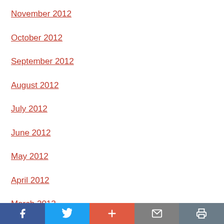November 2012
October 2012
September 2012
August 2012
July 2012
June 2012
May 2012
April 2012
March 2012